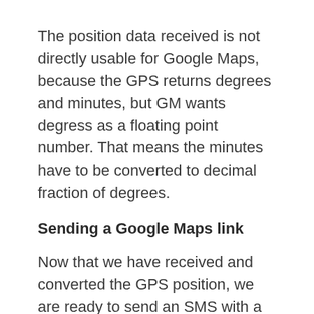The position data received is not directly usable for Google Maps, because the GPS returns degrees and minutes, but GM wants degress as a floating point number. That means the minutes have to be converted to decimal fraction of degrees.
Sending a Google Maps link
Now that we have received and converted the GPS position, we are ready to send an SMS with a link to GM. The link has the following format:
http://maps.google.com/maps?q=<lat>,
<lon>%28<message>
%29&t=k&z=<zoom>
You can embed a message, which appears in the